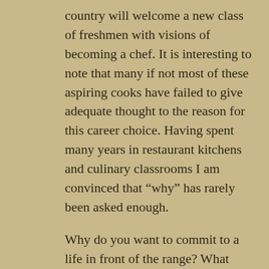country will welcome a new class of freshmen with visions of becoming a chef. It is interesting to note that many if not most of these aspiring cooks have failed to give adequate thought to the reason for this career choice. Having spent many years in restaurant kitchens and culinary classrooms I am convinced that “why” has rarely been asked enough.
Why do you want to commit to a life in front of the range? What would the answer likely be? The